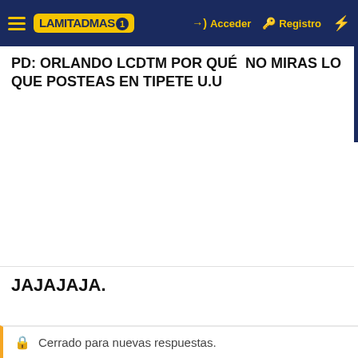La Mitad Mas 1 — Acceder — Registro
PD: ORLANDO LCDTM POR QUÉ NO MIRAS LO QUE POSTEAS EN TIPETE U.U
JAJAJAJA.
Cerrado para nuevas respuestas.